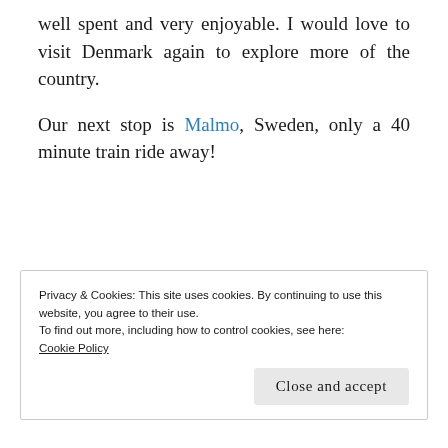well spent and very enjoyable. I would love to visit Denmark again to explore more of the country.
Our next stop is Malmo, Sweden, only a 40 minute train ride away!
Privacy & Cookies: This site uses cookies. By continuing to use this website, you agree to their use.
To find out more, including how to control cookies, see here:
Cookie Policy